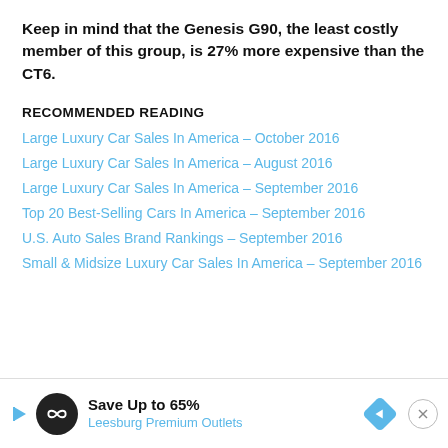Keep in mind that the Genesis G90, the least costly member of this group, is 27% more expensive than the CT6.
RECOMMENDED READING
Large Luxury Car Sales In America – October 2016
Large Luxury Car Sales In America – August 2016
Large Luxury Car Sales In America – September 2016
Top 20 Best-Selling Cars In America – September 2016
U.S. Auto Sales Brand Rankings – September 2016
Small & Midsize Luxury Car Sales In America – September 2016
[Figure (infographic): Advertisement banner: infinity loop logo, 'Save Up to 65% Leesburg Premium Outlets' with navigation arrow icon and close button]